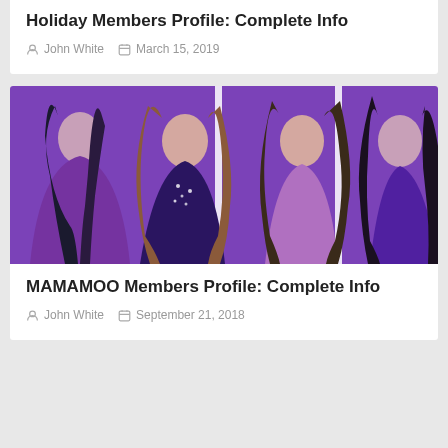Holiday Members Profile: Complete Info
John White   March 15, 2019
[Figure (photo): Four female K-pop group MAMAMOO members posing in purple outfits against a purple background]
MAMAMOO Members Profile: Complete Info
John White   September 21, 2018